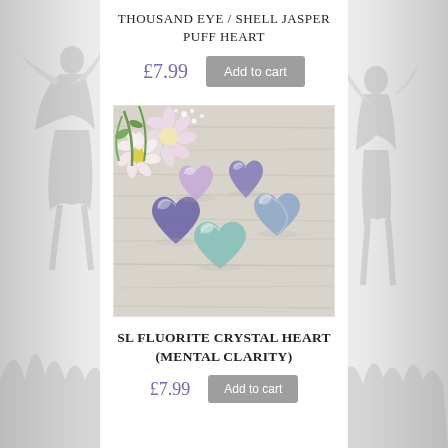THOUSAND EYE / SHELL JASPER PUFF HEART
£7.99
Add to cart
[Figure (photo): Five heart-shaped fluorite crystals in purple, teal, and blue-green hues arranged on a light wooden surface with pink and white flowers in the background.]
SL FLUORITE CRYSTAL HEART (MENTAL CLARITY)